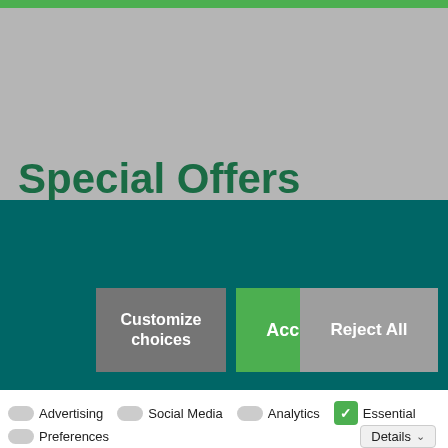Special Offers
Customize choices
Accept All
Reject All
Advertising
Social Media
Analytics
Essential
Preferences
Details